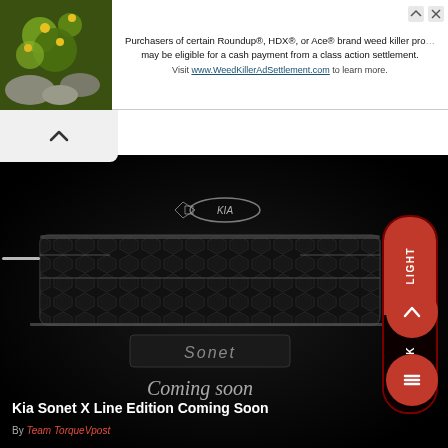[Figure (screenshot): Advertisement banner with plant/flower image on left and text about Roundup class action settlement on right]
Purchasers of certain Roundup®, HDX®, or Ace® brand weed killer products may be eligible for a cash payment from a class action settlement. Visit www.WeedKillerAdSettlement.com to learn more.
[Figure (photo): Dark teaser image of Kia Sonet X Line Edition front grille in low-light setting with 'Sonet' nameplate visible and 'Coming soon' text overlay. Light/Dark mode toggle pill on right side.]
Kia Sonet X Line Edition Coming Soon
By Team TorqueVpost